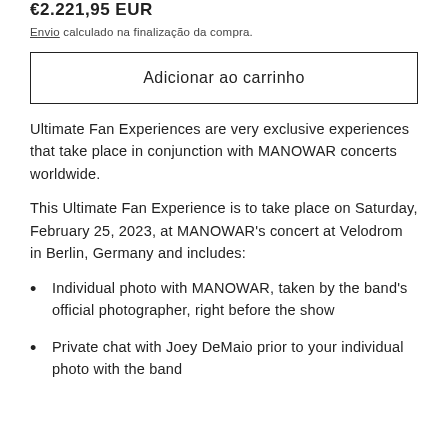€2.221,95 EUR
Envio calculado na finalização da compra.
Adicionar ao carrinho
Ultimate Fan Experiences are very exclusive experiences that take place in conjunction with MANOWAR concerts worldwide.
This Ultimate Fan Experience is to take place on Saturday, February 25, 2023, at MANOWAR's concert at Velodrom in Berlin, Germany and includes:
Individual photo with MANOWAR, taken by the band's official photographer, right before the show
Private chat with Joey DeMaio prior to your individual photo with the band